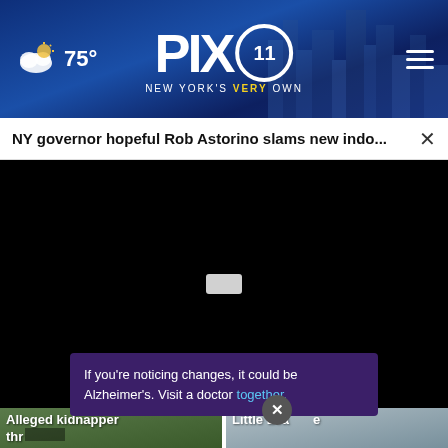PIX 11 NEW YORK'S VERY OWN — 75°
NY governor hopeful Rob Astorino slams new indo...
[Figure (screenshot): Black video player area with a small white play/pause button in the center]
Alleged kidnapper thr... ma...
Little League g...
If you're noticing changes, it could be Alzheimer's. Visit a doctor together.